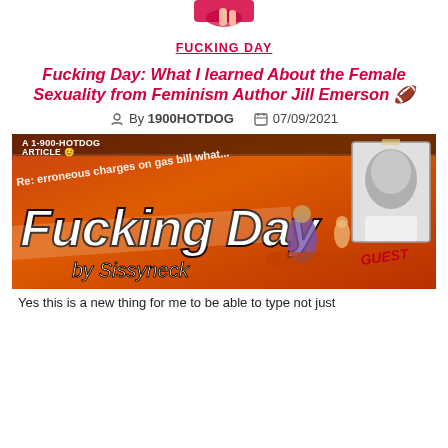[Figure (illustration): Partial image at top of page showing a hand or figure cropped at top edge, red/pink tones]
FUCKING DAY
Fucking Day: What I learned About the Female Sexuality from Feminism Author Jill Emerson 🏈
By 1900HOTDOG  07/09/2021
[Figure (illustration): Orange retro-styled magazine/article cover image reading 'Fucking Day by Sissyneck', with text 'A 1-900-HOTDOG ARTICLE', 'Re: erroneous charges on gas bill what...', and a black-and-white photo of a man labeled GUEST, cartoon figures on a couch]
Yes this is a new thing for me to be able to type not just